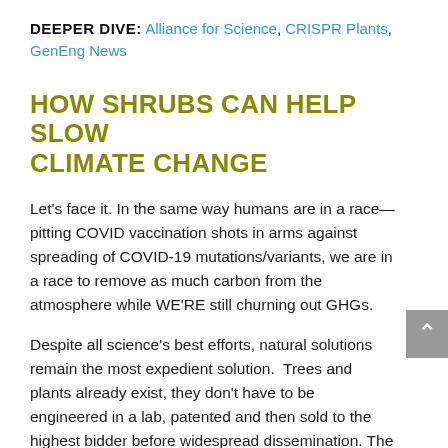DEEPER DIVE: Alliance for Science, CRISPR Plants, GenEng News
HOW SHRUBS CAN HELP SLOW CLIMATE CHANGE
Let's face it. In the same way humans are in a race—pitting COVID vaccination shots in arms against spreading of COVID-19 mutations/variants, we are in a race to remove as much carbon from the atmosphere while WE'RE still churning out GHGs.
Despite all science's best efforts, natural solutions remain the most expedient solution.  Trees and plants already exist, they don't have to be engineered in a lab, patented and then sold to the highest bidder before widespread dissemination. The thing is, you can't plant JUST trees. Trees don't grow above certain elevations, and you it exist for all around below some THAT'S